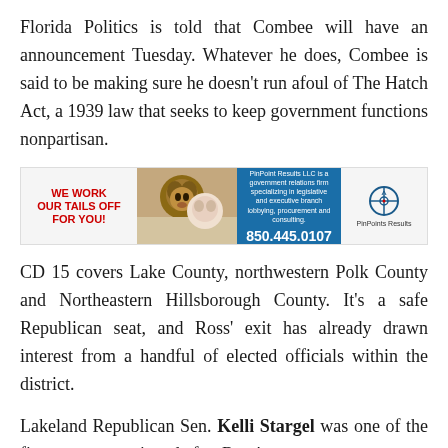Florida Politics is told that Combee will have an announcement Tuesday. Whatever he does, Combee is said to be making sure he doesn't run afoul of The Hatch Act, a 1939 law that seeks to keep government functions nonpartisan.
[Figure (other): Advertisement banner for PinPoint Results LLC, a government relations firm. Left section reads 'WE WORK OUR TAILS OFF FOR YOU!' in red bold text. Center has a photo of dogs/people. Blue section shows company description and phone number 850.445.0107. Right section shows PinPoints Results logo and name.]
CD 15 covers Lake County, northwestern Polk County and Northeastern Hillsborough County. It's a safe Republican seat, and Ross' exit has already drawn interest from a handful of elected officials within the district.
Lakeland Republican Sen. Kelli Stargel was one of the first names mentioned after Ross'